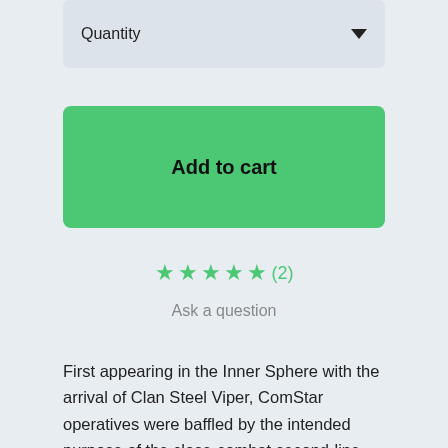Quantity
Add to cart
★★★★★(2)
Ask a question
First appearing in the Inner Sphere with the arrival of Clan Steel Viper, ComStar operatives were baffled by the intended purpose of the close-combat second-line garrison BattleMech they dubbed the Goshawk for its unusual bird-like design. It wasn't until Clan culture became more understood that Inner Sphere observers figured out what the Clans callled the Vapor Eagle